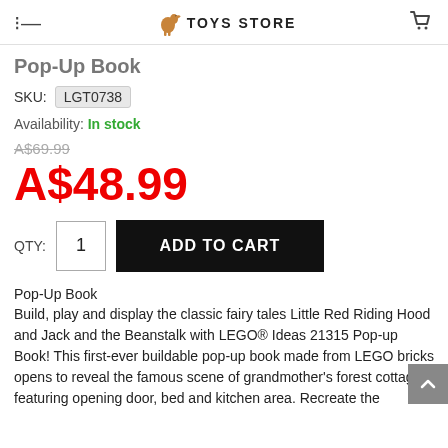TOYS STORE
Pop-Up Book
SKU: LGT0738
Availability: In stock
A$69.99
A$48.99
QTY: 1  ADD TO CART
Pop-Up Book
Build, play and display the classic fairy tales Little Red Riding Hood and Jack and the Beanstalk with LEGO® Ideas 21315 Pop-up Book! This first-ever buildable pop-up book made from LEGO bricks opens to reveal the famous scene of grandmother's forest cottage featuring opening door, bed and kitchen area. Recreate the